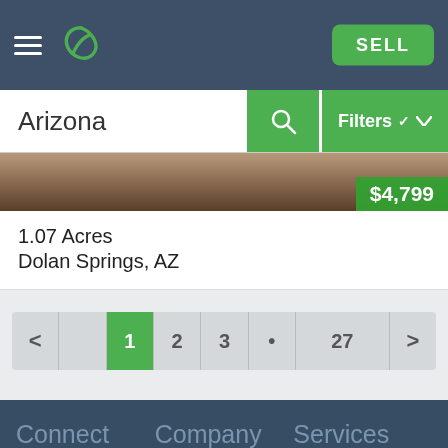LandCentury header with hamburger menu, logo, and SELL button
Arizona
[Figure (photo): Partial landscape photo of Arizona desert land, with price tag $4,799 in bottom right]
1.07 Acres
Dolan Springs, AZ
Pagination: < 1 2 3 ... 27 >
Connect | Company | Services | About Us | Create Account | MAP button